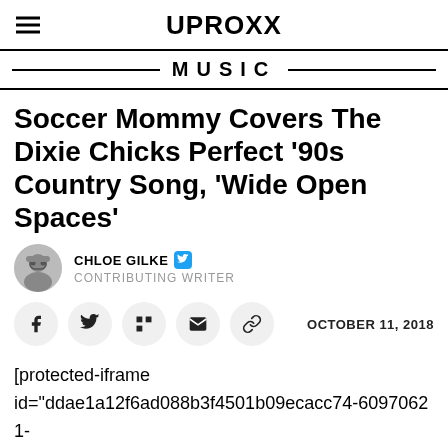UPROXX
MUSIC
Soccer Mommy Covers The Dixie Chicks Perfect '90s Country Song, 'Wide Open Spaces'
CHLOE GILKE  CONTRIBUTING WRITER
OCTOBER 11, 2018
[protected-iframe id="ddae1a12f6ad088b3f4501b09ecacc74-60970621-76566046" info="https://music.amazon.com/embed/B07HNC3BGK/id=ncKaeQt7Kz&marketplaceId=ATVPDKIKX0DER&mu